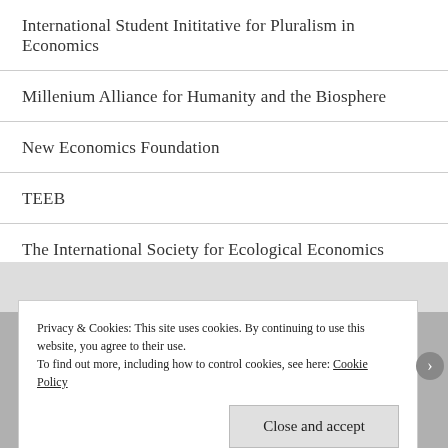International Student Inititative for Pluralism in Economics
Millenium Alliance for Humanity and the Biosphere
New Economics Foundation
TEEB
The International Society for Ecological Economics
Privacy & Cookies: This site uses cookies. By continuing to use this website, you agree to their use.
To find out more, including how to control cookies, see here: Cookie Policy
Close and accept